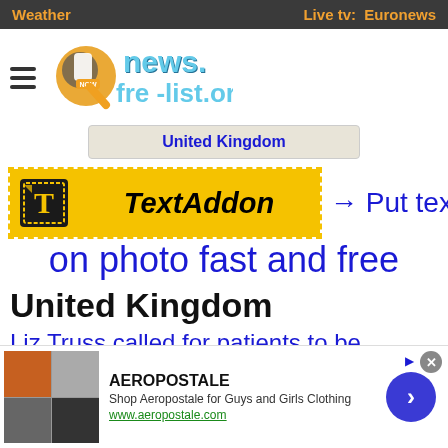Weather   Live tv:  Euronews
[Figure (logo): news.free-list.org logo with microphone and globe icon]
United Kingdom
[Figure (infographic): TextAddon advertisement banner with yellow background and dashed border. Arrow pointing right with text: Put text on photo fast and free]
United Kingdom
Liz Truss called for patients to be
[Figure (screenshot): Infolinks label bar at bottom left]
[Figure (infographic): Aeropostale advertisement banner with product images, brand name, description: Shop Aeropostale for Guys and Girls Clothing, url: www.aeropostale.com, and a blue circular arrow button. Close X button top right.]